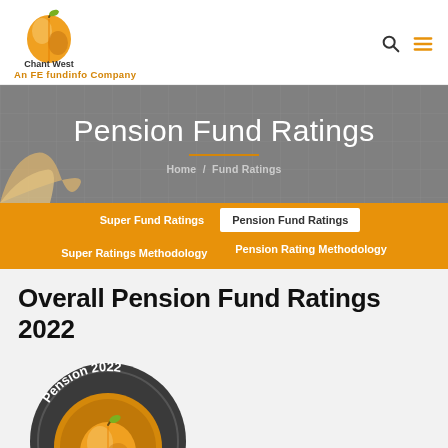Chant West — An FE fundinfo Company
[Figure (illustration): Chant West logo with apple icon and tagline 'An FE fundinfo Company']
Pension Fund Ratings
Home / Fund Ratings
Super Fund Ratings | Pension Fund Ratings | Super Ratings Methodology | Pension Rating Methodology
Overall Pension Fund Ratings 2022
[Figure (logo): Chant West Pension 2022 award badge — circular dark grey badge with orange apple logo and 'Pension 2022 Chant West' text]